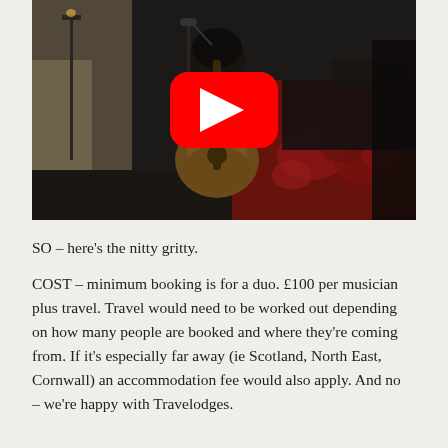[Figure (photo): A musician playing an acoustic guitar on stage, with a YouTube play button overlay in the center. Dark performance setting with red decorative backdrop visible.]
SO – here's the nitty gritty.
COST – minimum booking is for a duo. £100 per musician plus travel. Travel would need to be worked out depending on how many people are booked and where they're coming from. If it's especially far away (ie Scotland, North East, Cornwall) an accommodation fee would also apply. And no – we're happy with Travelodges.